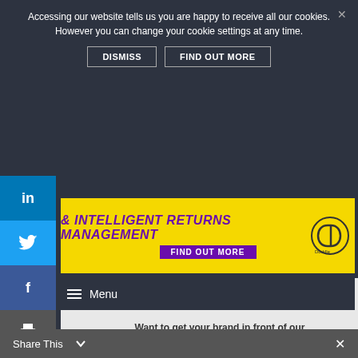Accessing our website tells us you are happy to receive all our cookies. However you can change your cookie settings at any time.
DISMISS   FIND OUT MORE
[Figure (screenshot): Yellow advertisement banner: & INTELLIGENT RETURNS MANAGEMENT with FIND OUT MORE button and Doddle logo]
Menu
JOIN THE DIRECTORY
Want to get your brand in front of our senior audience of post and parcel executives?
FIND OUT MORE
Share This